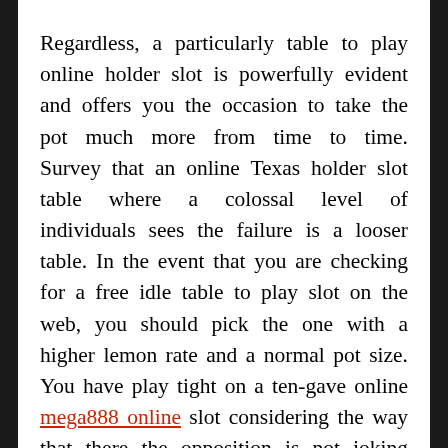Regardless, a particularly table to play online holder slot is powerfully evident and offers you the occasion to take the pot much more from time to time. Survey that an online Texas holder slot table where a colossal level of individuals sees the failure is a looser table. In the event that you are checking for a free idle table to play slot on the web, you should pick the one with a higher lemon rate and a normal pot size. You have play tight on a ten-gave online mega888 online slot considering the way that there the opposition is not joking and you would have to appear down your better hands. This is the motivation driving why a few players incline toward six-offered tables to play online holder slot. Precisely when you play in such tables, you have more odds of seeing the failure and winning. Put forth an attempt not to encounter over one hour on any online Texas holder slot table. Expanded time could lead decreasing focus, which could have a terrible effect...